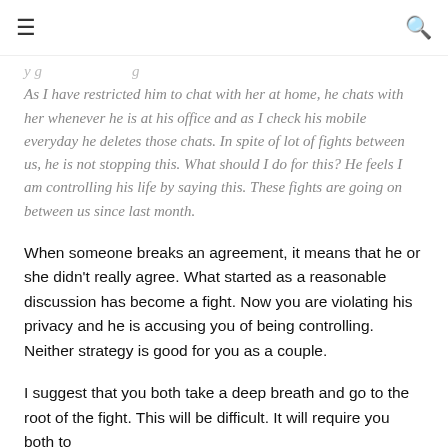≡  [search icon]
y g                                   g  As I have restricted him to chat with her at home, he chats with her whenever he is at his office and as I check his mobile everyday he deletes those chats. In spite of lot of fights between us, he is not stopping this. What should I do for this? He feels I am controlling his life by saying this. These fights are going on between us since last month.
When someone breaks an agreement, it means that he or she didn't really agree. What started as a reasonable discussion has become a fight. Now you are violating his privacy and he is accusing you of being controlling. Neither strategy is good for you as a couple.
I suggest that you both take a deep breath and go to the root of the fight. This will be difficult. It will require you both to